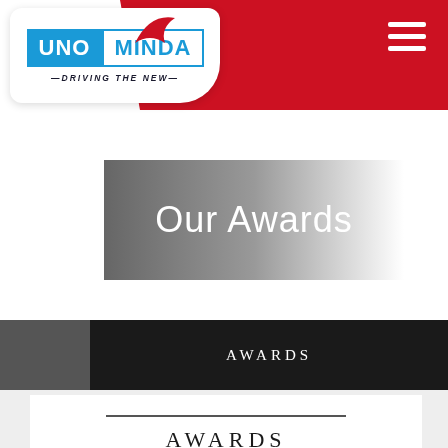[Figure (logo): UNO MINDA logo with tagline 'DRIVING THE NEW' on white oval badge with red accent and blue/white text blocks]
Our Awards
AWARDS
AWARDS